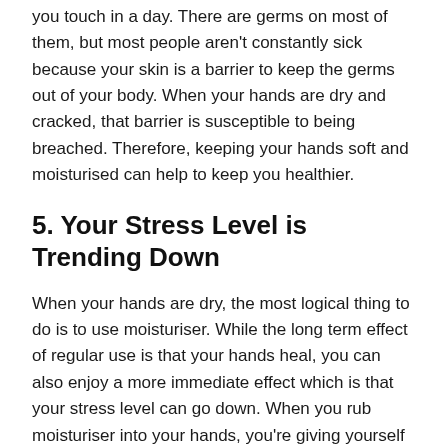you touch in a day. There are germs on most of them, but most people aren't constantly sick because your skin is a barrier to keep the germs out of your body. When your hands are dry and cracked, that barrier is susceptible to being breached. Therefore, keeping your hands soft and moisturised can help to keep you healthier.
5. Your Stress Level is Trending Down
When your hands are dry, the most logical thing to do is to use moisturiser. While the long term effect of regular use is that your hands heal, you can also enjoy a more immediate effect which is that your stress level can go down. When you rub moisturiser into your hands, you're giving yourself a bit of a spa treatment. A gentle hand massage can release endorphins which helps you to feel more relaxed.